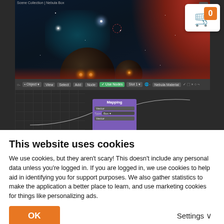[Figure (screenshot): Blender 3D application screenshot showing a space/nebula scene in the viewport with a node editor below. A shopping cart icon with orange badge showing '0' is visible in the top right corner. The viewport shows a dark space scene with reddish nebula clouds, a teal nebula glow, dark spherical planets, and stars. The node editor shows a purple 'Mapping' node connected with curves. Toolbar shows: Object, View, Select, Add, Node, Use Nodes checkbox, Slot 1, Nebula Material.]
This website uses cookies
We use cookies, but they aren't scary! This doesn't include any personal data unless you're logged in. If you are logged in, we use cookies to help aid in identifying you for support purposes. We also gather statistics to make the application a better place to learn, and use marketing cookies for things like personalizing ads.
OK
Settings